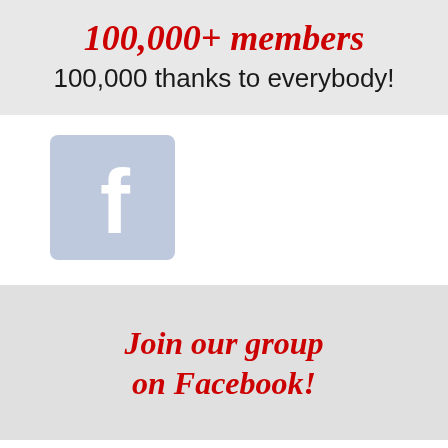100,000+ members
100,000 thanks to everybody!
[Figure (logo): Facebook logo icon — light blue-grey square with white lowercase 'f']
Join our group on Facebook!